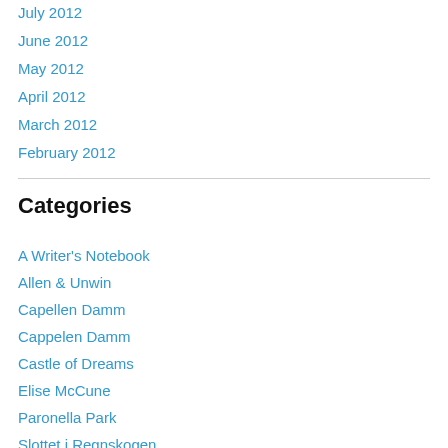July 2012
June 2012
May 2012
April 2012
March 2012
February 2012
Categories
A Writer's Notebook
Allen & Unwin
Capellen Damm
Cappelen Damm
Castle of Dreams
Elise McCune
Paronella Park
Slottet i Regnskogen
What Elise Wrote